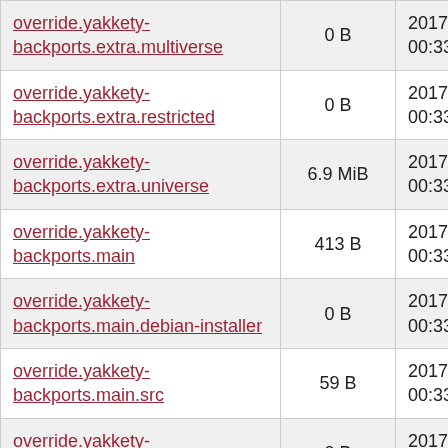| Name | Size | Date |
| --- | --- | --- |
| override.yakkety-backports.extra.multiverse | 0 B | 2017-07-25 00:33:29 |
| override.yakkety-backports.extra.restricted | 0 B | 2017-07-25 00:33:29 |
| override.yakkety-backports.extra.universe | 6.9 MiB | 2017-07-25 00:33:31 |
| override.yakkety-backports.main | 413 B | 2017-07-25 00:33:31 |
| override.yakkety-backports.main.debian-installer | 0 B | 2017-07-25 00:33:29 |
| override.yakkety-backports.main.src | 59 B | 2017-07-25 00:33:32 |
| override.yakkety-backports.multiverse | 0 B | 2017-07-25 00:33:29 |
| override.yakkety-backports.multiverse.debian-installer | 0 B | 2017-07-25 00:33:29 |